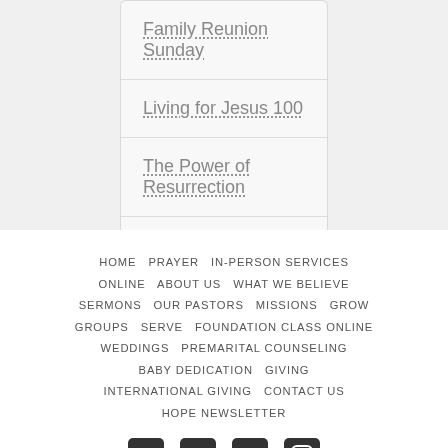Family Reunion Sunday
Living for Jesus 100
The Power of Resurrection
Look...Your King is Coming!
HOME  PRAYER  IN-PERSON SERVICES  ONLINE  ABOUT US  WHAT WE BELIEVE  SERMONS  OUR PASTORS  MISSIONS  GROW GROUPS  SERVE  FOUNDATION CLASS ONLINE  WEDDINGS  PREMARITAL COUNSELING  BABY DEDICATION  GIVING  INTERNATIONAL GIVING  CONTACT US  HOPE NEWSLETTER